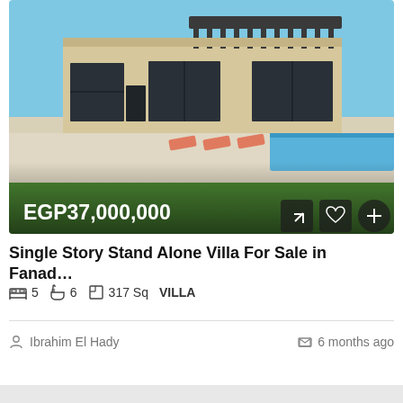[Figure (photo): Exterior photo of a single-story luxury villa with a swimming pool, sun loungers, and green lawn in the foreground. Blue sky background.]
Single Story Stand Alone Villa For Sale in Fanad…
5 bedrooms  6 bathrooms  317 Sq  VILLA
Ibrahim El Hady   6 months ago